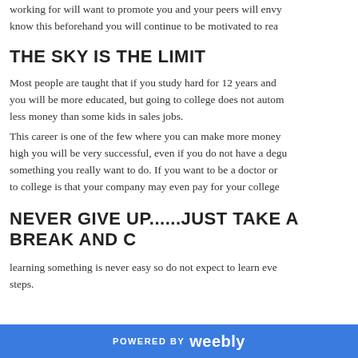working for will want to promote you and your peers will envy know this beforehand you will continue to be motivated to rea
THE SKY IS THE LIMIT
Most people are taught that if you study hard for 12 years and you will be more educated, but going to college does not autom less money than some kids in sales jobs.
This career is one of the few where you can make more money high you will be very successful, even if you do not have a degu something you really want to do. If you want to be a doctor or to college is that your company may even pay for your college
NEVER GIVE UP......JUST TAKE A BREAK AND C
learning something is never easy so do not expect to learn eve steps.
POWERED BY weebly